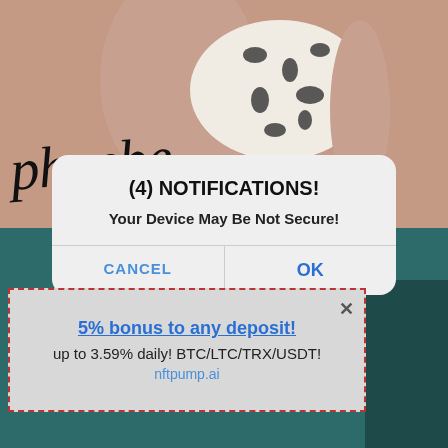[Figure (screenshot): Screenshot of a mobile browser or app showing a photo of a person wearing a white animal-print top with a cursive handwritten signature 'phoebe' overlaid on the image. Below the photo is a teal/dark green background. On top of this content is a modal notification dialog and an ad popup.]
(4) NOTIFICATIONS!
Your Device May Be Not Secure!
CANCEL
OK
5% bonus to any deposit!
up to 3.59% daily! BTC/LTC/TRX/USDT!
nftpump.ai